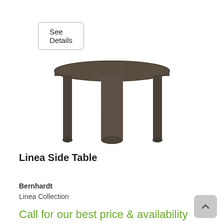See Details
[Figure (photo): A dark brown/grey wood side table with a round top and three legs with a central support column, shown from a slight angle. The table appears to be the Linea Side Table by Bernhardt.]
Linea Side Table
Bernhardt
Linea Collection
Call for our best price & availability